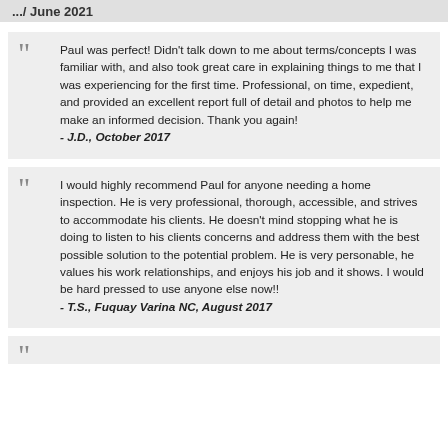.../ June 2021
Paul was perfect! Didn't talk down to me about terms/concepts I was familiar with, and also took great care in explaining things to me that I was experiencing for the first time. Professional, on time, expedient, and provided an excellent report full of detail and photos to help me make an informed decision. Thank you again!
- J.D., October 2017
I would highly recommend Paul for anyone needing a home inspection. He is very professional, thorough, accessible, and strives to accommodate his clients. He doesn't mind stopping what he is doing to listen to his clients concerns and address them with the best possible solution to the potential problem. He is very personable, he values his work relationships, and enjoys his job and it shows. I would be hard pressed to use anyone else now!!
- T.S., Fuquay Varina NC, August 2017